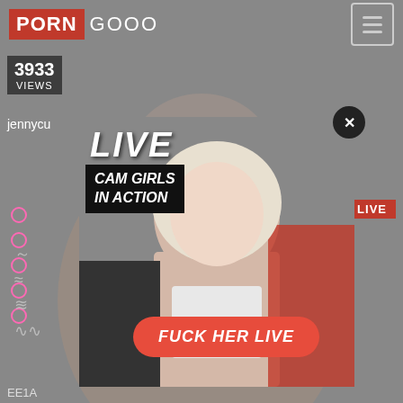PORN GOOO
3933 VIEWS
jennycu
LIVE
CAM GIRLS IN ACTION
FUCK HER LIVE
[Figure (screenshot): Website screenshot of PORN GOOO with a popup ad showing a blonde woman with overlaid text LIVE, CAM GIRLS IN ACTION, and a red button FUCK HER LIVE]